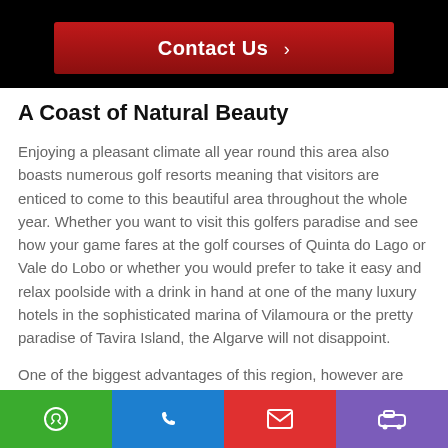[Figure (other): Red 'Contact Us >' button on black background bar]
A Coast of Natural Beauty
Enjoying a pleasant climate all year round this area also boasts numerous golf resorts meaning that visitors are enticed to come to this beautiful area throughout the whole year. Whether you want to visit this golfers paradise and see how your game fares at the golf courses of Quinta do Lago or Vale do Lobo or whether you would prefer to take it easy and relax poolside with a drink in hand at one of the many luxury hotels in the sophisticated marina of Vilamoura or the pretty paradise of Tavira Island, the Algarve will not disappoint.
One of the biggest advantages of this region, however are
[Figure (other): Bottom navigation bar with four coloured buttons: green (WhatsApp), blue (phone), red (email), purple (car/transport)]